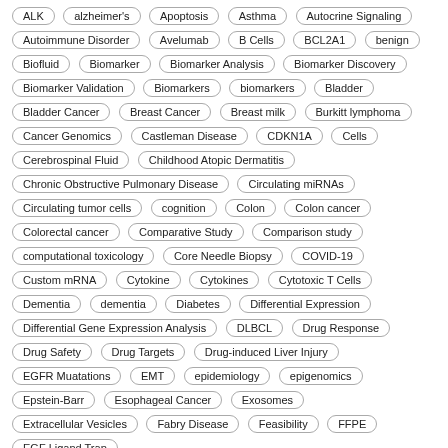[Figure (infographic): Tag cloud of medical and biomedical research topics, each term shown as a rounded-rectangle pill/badge with border. Terms include ALK, alzheimer's, Apoptosis, Asthma, Autocrine Signaling, Autoimmune Disorder, Avelumab, B Cells, BCL2A1, benign, Biofluid, Biomarker, Biomarker Analysis, Biomarker Discovery, Biomarker Validation, Biomarkers, biomarkers, Bladder, Bladder Cancer, Breast Cancer, Breast milk, Burkitt lymphoma, Cancer Genomics, Castleman Disease, CDKN1A, Cells, Cerebrospinal Fluid, Childhood Atopic Dermatitis, Chronic Obstructive Pulmonary Disease, Circulating miRNAs, Circulating tumor cells, cognition, Colon, Colon cancer, Colorectal cancer, Comparative Study, Comparison study, computational toxicology, Core Needle Biopsy, COVID-19, Custom mRNA, Cytokine, Cytokines, Cytotoxic T Cells, Dementia, dementia, Diabetes, Differential Expression, Differential Gene Expression Analysis, DLBCL, Drug Response, Drug Safety, Drug Targets, Drug-induced Liver Injury, EGFR Muatations, EMT, epidemiology, epigenomics, Epstein-Barr, Esophageal Cancer, Exosomes, Extracellular Vesicles, Fabry Disease, Feasibility, FFPE, EGF Ligand Trap]